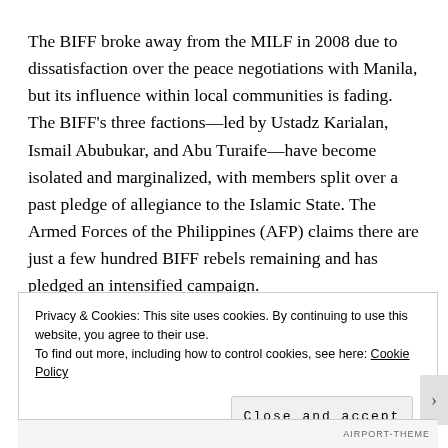The BIFF broke away from the MILF in 2008 due to dissatisfaction over the peace negotiations with Manila, but its influence within local communities is fading. The BIFF's three factions—led by Ustadz Karialan, Ismail Abubukar, and Abu Turaife—have become isolated and marginalized, with members split over a past pledge of allegiance to the Islamic State. The Armed Forces of the Philippines (AFP) claims there are just a few hundred BIFF rebels remaining and has pledged an intensified campaign.
Privacy & Cookies: This site uses cookies. By continuing to use this website, you agree to their use.
To find out more, including how to control cookies, see here: Cookie Policy
Close and accept